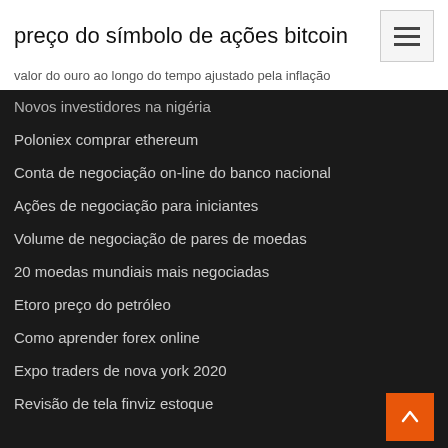preço do símbolo de ações bitcoin
valor do ouro ao longo do tempo ajustado pela inflação
Novos investidores na nigéria
Poloniex comprar ethereum
Conta de negociação on-line do banco nacional
Ações de negociação para iniciantes
Volume de negociação de pares de moedas
20 moedas mundiais mais negociadas
Etoro preço do petróleo
Como aprender forex online
Expo traders de nova york 2020
Revisão de tela finviz estoque